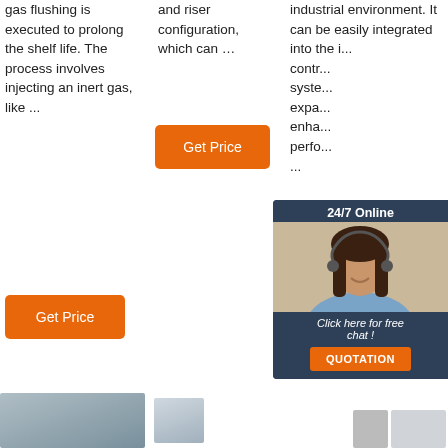gas flushing is executed to prolong the shelf life. The process involves injecting an inert gas, like ...
and riser configuration, which can …
industrial environment. It can be easily integrated into the i... contr... syste... expa... enha... perfo... ...
Get Price
Get Price
Get Price
[Figure (screenshot): Chat popup overlay with '24/7 Online' header, agent photo (woman with headset), 'Click here for free chat!' text, and QUOTATION button]
[Figure (illustration): TOP button with orange dots decoration]
[Figure (photo): Bottom row of product thumbnail images]